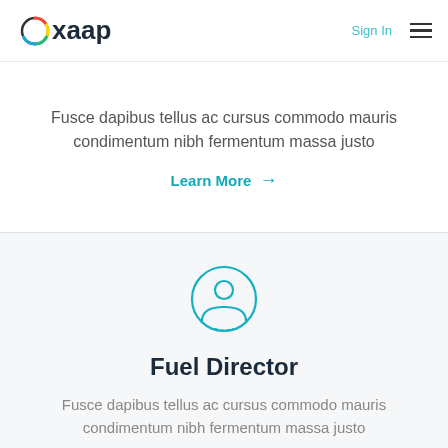Oxaap | Sign In | Menu
Fusce dapibus tellus ac cursus commodo mauris condimentum nibh fermentum massa justo
Learn More →
[Figure (illustration): Teal person/user icon inside a circle, representing a user profile]
Fuel Director
Fusce dapibus tellus ac cursus commodo mauris condimentum nibh fermentum massa justo